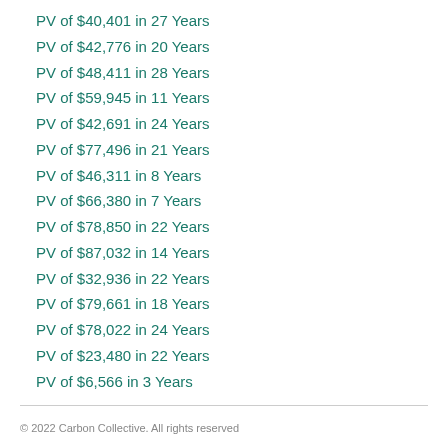PV of $40,401 in 27 Years
PV of $42,776 in 20 Years
PV of $48,411 in 28 Years
PV of $59,945 in 11 Years
PV of $42,691 in 24 Years
PV of $77,496 in 21 Years
PV of $46,311 in 8 Years
PV of $66,380 in 7 Years
PV of $78,850 in 22 Years
PV of $87,032 in 14 Years
PV of $32,936 in 22 Years
PV of $79,661 in 18 Years
PV of $78,022 in 24 Years
PV of $23,480 in 22 Years
PV of $6,566 in 3 Years
© 2022 Carbon Collective. All rights reserved